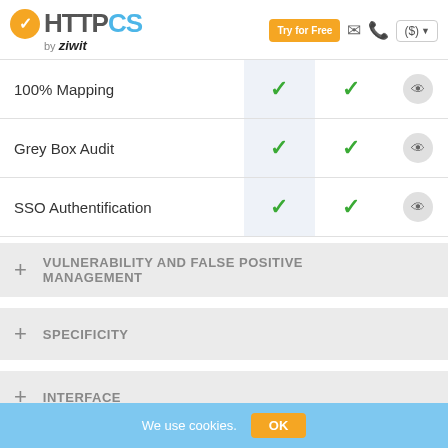HTTPCS by ziwit — Try for Free
| Feature | Col2 | Col3 | Info |
| --- | --- | --- | --- |
| 100% Mapping | ✓ | ✓ | eye |
| Grey Box Audit | ✓ | ✓ | eye |
| SSO Authentification | ✓ | ✓ | eye |
+ VULNERABILITY AND FALSE POSITIVE MANAGEMENT
+ SPECIFICITY
+ INTERFACE
+ PRICING AND SUPPORT
We use cookies.   OK